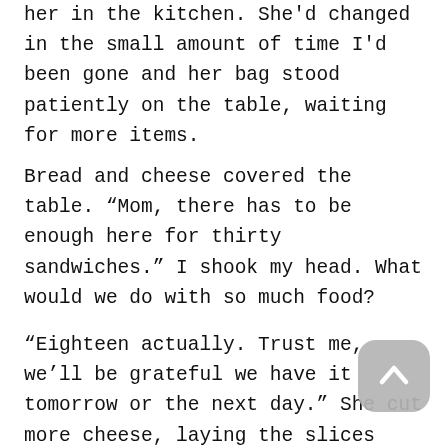her in the kitchen. She'd changed in the small amount of time I'd been gone and her bag stood patiently on the table, waiting for more items.
Bread and cheese covered the table. “Mom, there has to be enough here for thirty sandwiches.” I shook my head. What would we do with so much food?
“Eighteen actually. Trust me, we’ll be grateful we have it tomorrow or the next day.” She cut more cheese, laying the slices across the bread. Nodding toward the mayonnaise container, she added. “Get going, please. I’m sure the looting will start so want to be out of here before the real danger reaches the neighborhoods.” She slid baggies from